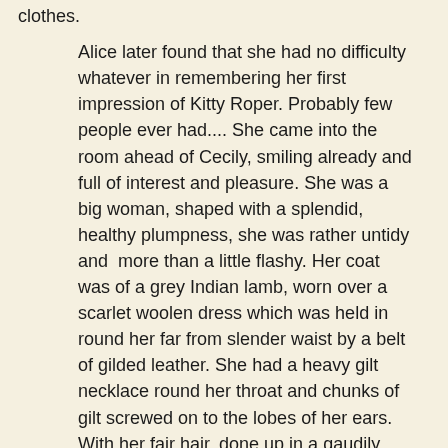clothes.
Alice later found that she had no difficulty whatever in remembering her first impression of Kitty Roper. Probably few people ever had.... She came into the room ahead of Cecily, smiling already and full of interest and pleasure. She was a big woman, shaped with a splendid, healthy plumpness, she was rather untidy and more than a little flashy. Her coat was of a grey Indian lamb, worn over a scarlet woolen dress which was held in round her far from slender waist by a belt of gilded leather. She had a heavy gilt necklace round her throat and chunks of gilt screwed on to the lobes of her ears. With her fair hair, done up in a gaudily striped turban, showing on her forehead in a cluster of dishevelled curls, with her fresh, fair skin, blue eyes and soft, full lips, gaily daubed with few haphazard strokes of lipstick, she was like some magnificent doll, come to exurberant life.
Ferrar's books are more about the people than the crimes,